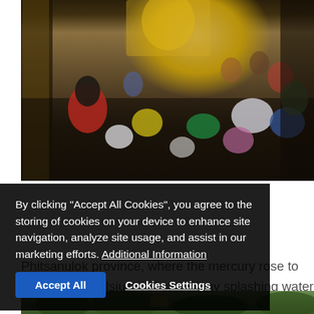[Figure (photo): Indoor Buddhist temple with golden Buddha statue, crowd of worshippers seated on the floor, elaborate gold-decorated walls and pillars]
Phitsanulok province, where the mercury rose to 39 degrees Celsius, still saw many splashing water at different venues while Uttaradit's Muang district saw a five kilometre long congestion of Songkran revellers' vehicles on Samranreun Road as they engaged in fun water wars.
By clicking "Accept All Cookies", you agree to the storing of cookies on your device to enhance site navigation, analyze site usage, and assist in our marketing efforts. Additional Information
[Figure (photo): Aerial or elevated view of forested landscape with structures visible among trees]